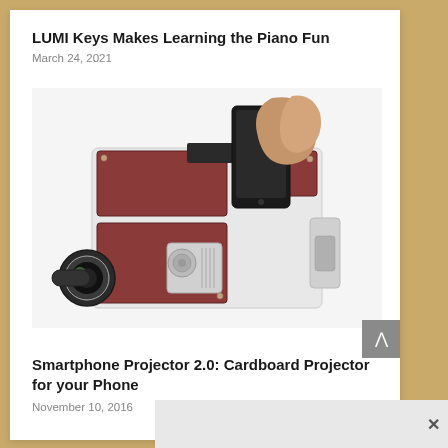LUMI Keys Makes Learning the Piano Fun
March 24, 2021
[Figure (photo): A cardboard smartphone projector device with a lens on the left side, brown/maroon decorative panels, and a hand inserting a smartphone into the top slot. The device resembles a retro camera or projector shape.]
Smartphone Projector 2.0: Cardboard Projector for your Phone
November 10, 2016